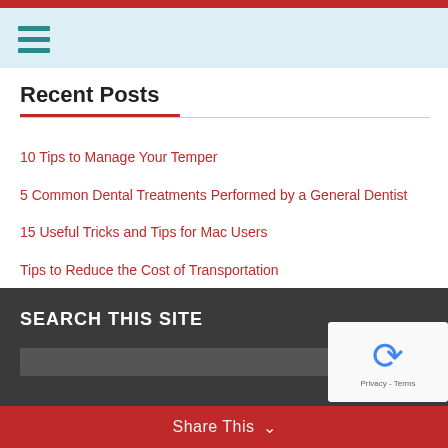Navigation menu header with hamburger icon
Recent Posts
10 Tips to Manage Your Temper
5 Common Dental Treatments Performed by a General Dentist
15 Useful Tricks and Tips for Mac Users
Tips to Reduce the Cost of Transportation
15 Ways to Beat Anxiety and Boredom during the COVID-19 Pandemic
SEARCH THIS SITE
Share This